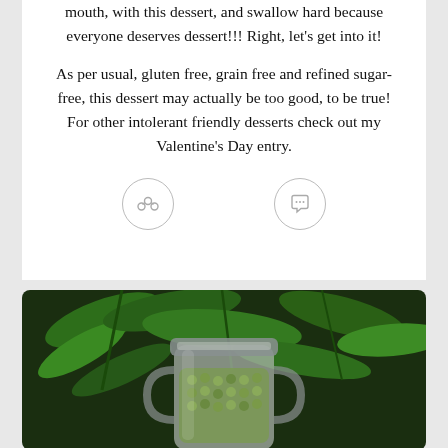mouth, with this dessert, and swallow hard because everyone deserves dessert!!! Right, let's get into it!
As per usual, gluten free, grain free and refined sugar-free, this dessert may actually be too good, to be true! For other intolerant friendly desserts check out my Valentine's Day entry.
[Figure (photo): A glass jar filled with green olives or peas, surrounded by fresh green herbs (coriander/cilantro), viewed from above on a dark background.]